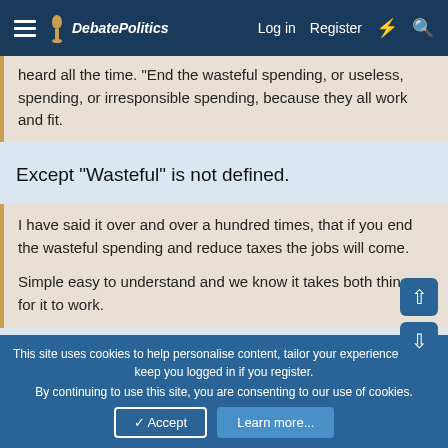DebatePolitics — Log in | Register
heard all the time. "End the wasteful spending, or useless, spending, or irresponsible spending, because they all work and fit.
Except "Wasteful" is not defined.
I have said it over and over a hundred times, that if you end the wasteful spending and reduce taxes the jobs will come.

Simple easy to understand and we know it takes both things for it to work.
And what consititutes wasteful? It is wasteful to operate a base we don't need? Yes. But the GOP is fighting those cuts. It is wasteful to...
This site uses cookies to help personalise content, tailor your experience and to keep you logged in if you register.
By continuing to use this site, you are consenting to our use of cookies.